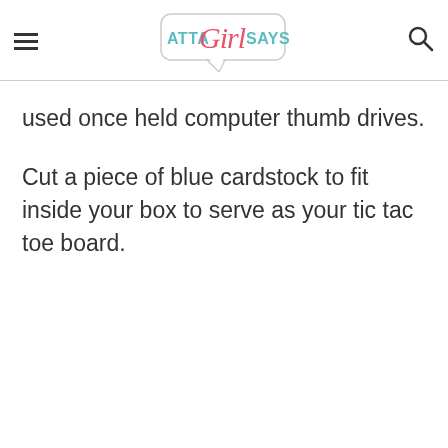ATTA Girl SAYS (logo with hamburger menu and search icon)
used once held computer thumb drives.
Cut a piece of blue cardstock to fit inside your box to serve as your tic tac toe board.